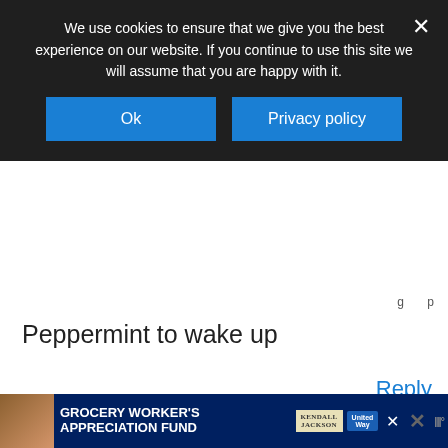We use cookies to ensure that we give you the best experience on our website. If you continue to use this site we will assume that you are happy with it.
Peppermint to wake up
Reply
MICHELLE CASKEY
APRIL 8, 2015 AT 11:31 AM
Good idea, Juhl. I'm just starting to use some essential oils.    I'll have to give this one a try! 🙂
[Figure (screenshot): Bottom advertisement bar: Grocery Worker's Appreciation Fund with Kendall Jackson and United Way logos]